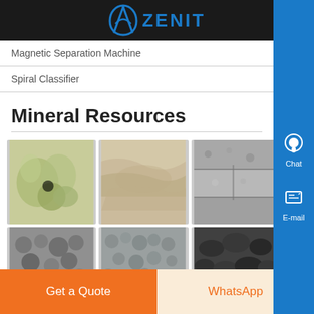ZENIT
Magnetic Separation Machine
Spiral Classifier
Mineral Resources
[Figure (photo): Grid of 6 mineral resource photos: feldspar/quartz crystals, layered stone, granite blocks, crushed stone/gravel, gray gravel, coal/black rock]
Get a Quote
WhatsApp